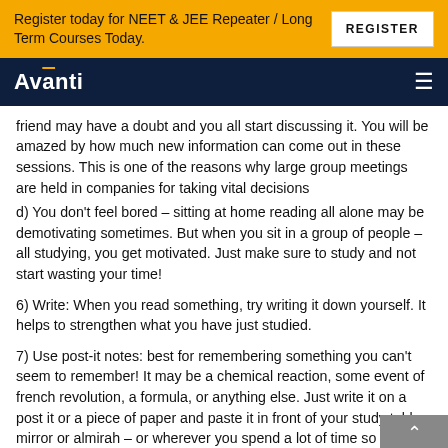Register today for NEET & JEE Repeater / Long Term Courses Today.
Avanti
friend may have a doubt and you all start discussing it. You will be amazed by how much new information can come out in these sessions. This is one of the reasons why large group meetings are held in companies for taking vital decisions
d) You don't feel bored – sitting at home reading all alone may be demotivating sometimes. But when you sit in a group of people – all studying, you get motivated. Just make sure to study and not start wasting your time!
6) Write: When you read something, try writing it down yourself. It helps to strengthen what you have just studied.
7) Use post-it notes: best for remembering something you can't seem to remember! It may be a chemical reaction, some event of french revolution, a formula, or anything else. Just write it on a post it or a piece of paper and paste it in front of your study table, mirror or almirah – or wherever you spend a lot of time so that you see it again and again and thus it fits in your brain!